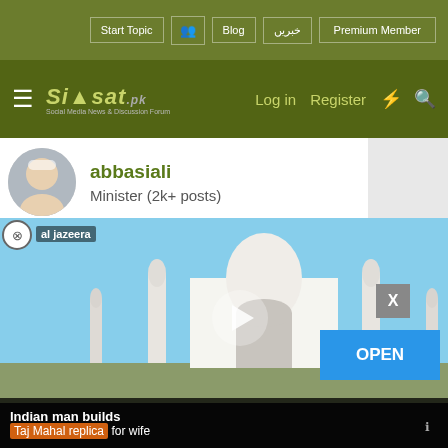Start Topic | Blog | خبریں | Premium Member | Log in | Register
Siasat.pk - Social Media News & Discussion Forum
abbasiali
Minister (2k+ posts)
Jul 17, 2011   #20
This thread has been started with a very positive gestures, and I was expecting it going to be end peacefully, however our most senior member couldn't bear with it, I do understand his feeling, however I will not support such kind of remarks passed ... provoked.
[Figure (screenshot): Video ad overlay showing a mosque/Taj Mahal replica building. Al Jazeera logo top left. Play button in center. Caption: 'Indian man builds Taj Mahal replica for wife'. Open button on right side.]
ng Twinkle